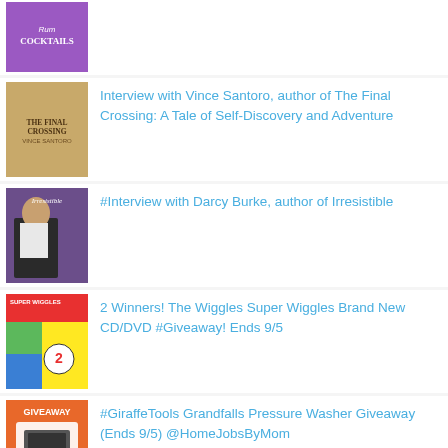(Rum Cocktails book cover - partial image at top)
Interview with Vince Santoro, author of The Final Crossing: A Tale of Self-Discovery and Adventure
#Interview with Darcy Burke, author of Irresistible
2 Winners! The Wiggles Super Wiggles Brand New CD/DVD #Giveaway! Ends 9/5
#GiraffeTools Grandfalls Pressure Washer Giveaway (Ends 9/5) @HomeJobsByMom